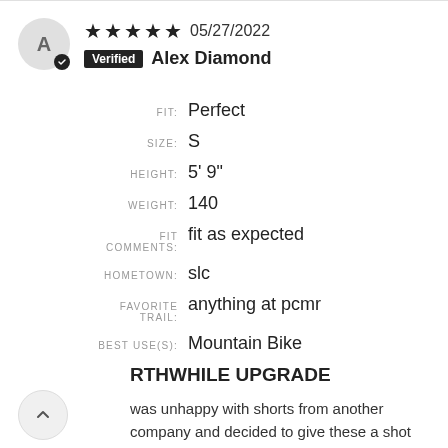★★★★★ 05/27/2022 Verified Alex Diamond
FIT: Perfect
SIZE: S
HEIGHT: 5' 9"
WEIGHT: 140
FIT COMMENTS: fit as expected
HOMETOWN: slc
FAVORITE TRAIL: anything at pcmr
BEST USE(S): Mountain Bike
WORTHWHILE UPGRADE
was unhappy with shorts from another company and decided to give these a shot as I have many friends who love their biking. Definitely worth the...